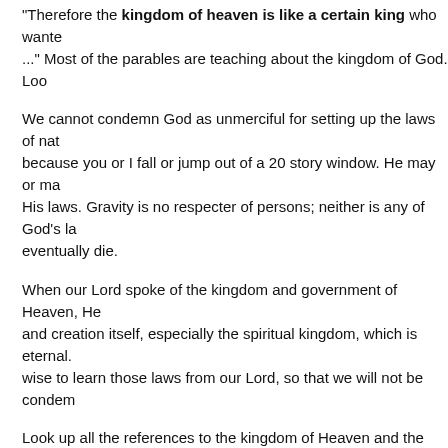"Therefore the kingdom of heaven is like a certain king who wante... " Most of the parables are teaching about the kingdom of God. Loo...
We cannot condemn God as unmerciful for setting up the laws of nat... because you or I fall or jump out of a 20 story window. He may or ma... His laws. Gravity is no respecter of persons; neither is any of God's la... eventually die.
When our Lord spoke of the kingdom and government of Heaven, He... and creation itself, especially the spiritual kingdom, which is eternal. ... wise to learn those laws from our Lord, so that we will not be condem...
Look up all the references to the kingdom of Heaven and the kingdon... every day of our lives, or we can be ignorant of it until we die.
22. But you have come to The Mountain of Zion and to The City of ... myriads of Angels;
23. And to the church of the firstborn ones who are written in Heaven... perfect,
24. And to Yeshua, The Mediator of The New Covenant, and to the s...
25. Beware therefore, lest you refuse him who speaks with you, for if...